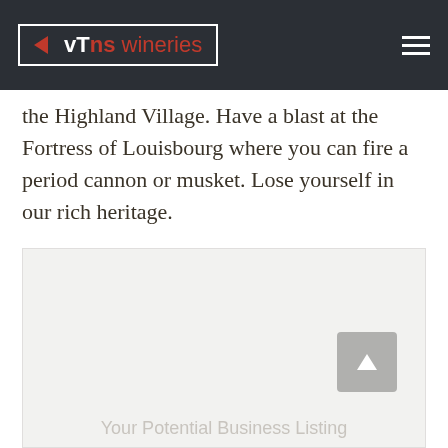vTns wineries
the Highland Village. Have a blast at the Fortress of Louisbourg where you can fire a period cannon or musket. Lose yourself in our rich heritage.
[Figure (other): Advertisement placeholder box with scroll-to-top button and 'Your Potential Business Listing' text at bottom]